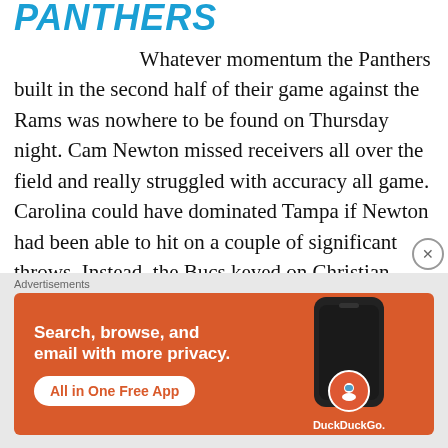PANTHERS
Whatever momentum the Panthers built in the second half of their game against the Rams was nowhere to be found on Thursday night. Cam Newton missed receivers all over the field and really struggled with accuracy all game. Carolina could have dominated Tampa if Newton had been able to hit on a couple of significant throws. Instead, the Bucs keyed on Christian McCaffrey and essentially shut him down. The defense also made Jameis Winston look like a competent
[Figure (other): DuckDuckGo advertisement banner with orange background showing 'Search, browse, and email with more privacy. All in One Free App' with a phone graphic and DuckDuckGo logo]